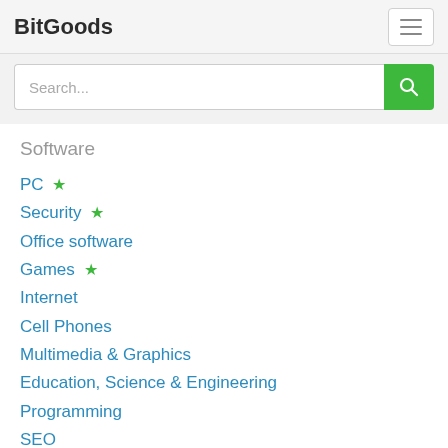BitGoods
Software
PC ★
Security ★
Office software
Games ★
Internet
Cell Phones
Multimedia & Graphics
Education, Science & Engineering
Programming
SEO
Desktop
Editors
Software for Pocket PC
Utilities